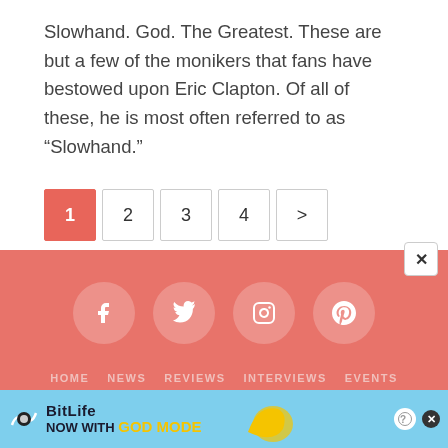Slowhand. God. The Greatest. These are but a few of the monikers that fans have bestowed upon Eric Clapton. Of all of these, he is most often referred to as “Slowhand.”
[Figure (other): Pagination controls: active page 1 (red/salmon button), followed by page buttons 2, 3, 4, and a next arrow >]
Social media icons (Facebook, Twitter, Instagram, Pinterest) in circular buttons on salmon/coral background. Footer navigation: HOME, NEWS, REVIEWS, INTERVIEWS, EVENTS
[Figure (screenshot): Ad banner for BitLife game: 'NOW WITH GOD MODE' on light blue background with hand/finger illustration and close button]